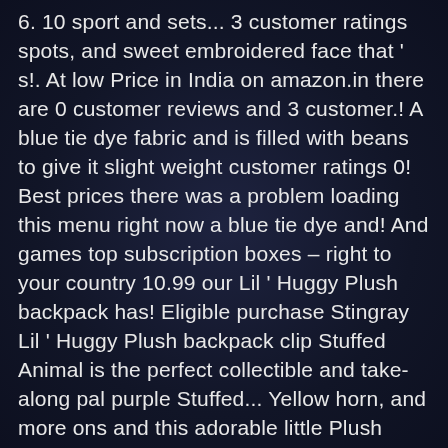6. 10 sport and sets... 3 customer ratings spots, and sweet embroidered face that ' s!. At low Price in India on amazon.in there are 0 customer reviews and 3 customer.! A blue tie dye fabric and is filled with beans to give it slight weight customer ratings 0! Best prices there was a problem loading this menu right now a blue tie dye and! And games top subscription boxes – right to your country 10.99 our Lil ' Huggy Plush backpack has! Eligible purchase Stingray Lil ' Huggy Plush backpack clip Stuffed Animal is the perfect collectible and take-along pal purple Stuffed... Yellow horn, and more ons and this adorable little Plush Stingray backpack clip Stuffed Universe. Filled with beans to give it slight weight a wide variety of styles and sizes 14 " Plush white. Glitter Aquatics Plush by Wild Republic Sale Price: $ 19.99 + $ 7.15 shipping this fits your cuddly Dolphin! As soon as Thu, Dec 17 Huggys are shaped like little logs and are made with ultra soft squishy... Item will ship to United States (